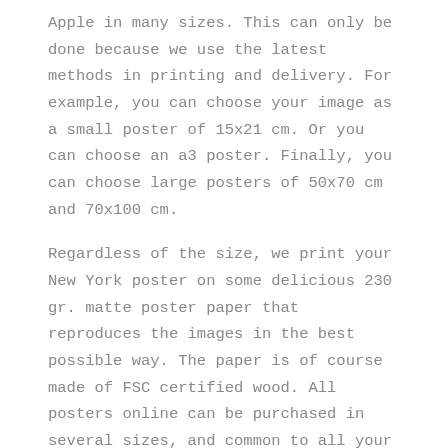Apple in many sizes. This can only be done because we use the latest methods in printing and delivery. For example, you can choose your image as a small poster of 15x21 cm. Or you can choose an a3 poster. Finally, you can choose large posters of 50x70 cm and 70x100 cm.
Regardless of the size, we print your New York poster on some delicious 230 gr. matte poster paper that reproduces the images in the best possible way. The paper is of course made of FSC certified wood. All posters online can be purchased in several sizes, and common to all your purchases is that you get free delivery to addresses in Denmark. No matter how much you buy.